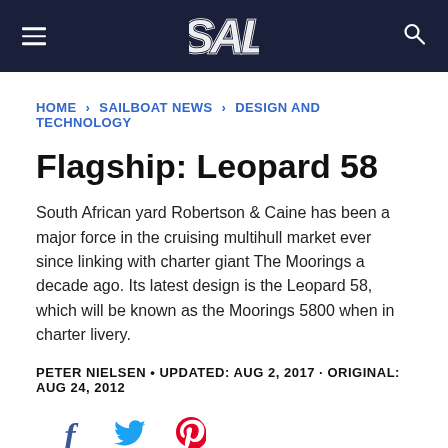SAIL (logo/navigation bar)
HOME › SAILBOAT NEWS › DESIGN AND TECHNOLOGY
Flagship: Leopard 58
South African yard Robertson & Caine has been a major force in the cruising multihull market ever since linking with charter giant The Moorings a decade ago. Its latest design is the Leopard 58, which will be known as the Moorings 5800 when in charter livery.
PETER NIELSEN • UPDATED: AUG 2, 2017 · ORIGINAL: AUG 24, 2012
[Figure (other): Social share icons: Facebook, Twitter, Pinterest]